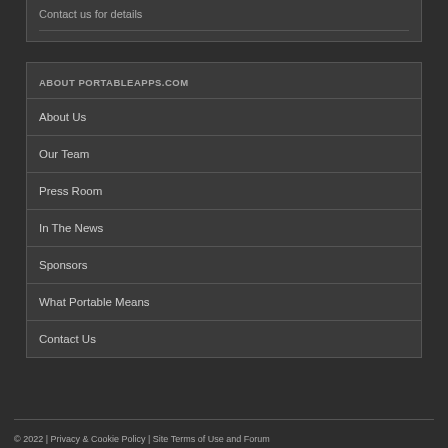Contact us for details
ABOUT PORTABLEAPPS.COM
About Us
Our Team
Press Room
In The News
Sponsors
What Portable Means
Contact Us
© 2022  |  Privacy & Cookie Policy  |  Site Terms of Use and Forum